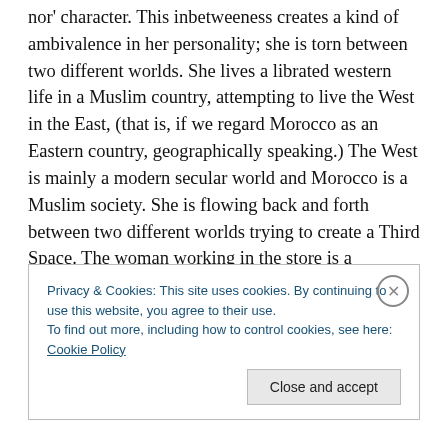nor' character. This inbetweeness creates a kind of ambivalence in her personality; she is torn between two different worlds. She lives a librated western life in a Muslim country, attempting to live the West in the East, (that is, if we regard Morocco as an Eastern country, geographically speaking.) The West is mainly a modern secular world and Morocco is a Muslim society. She is flowing back and forth between two different worlds trying to create a Third Space. The woman working in the store is a westernized character par excellence, but since she
Privacy & Cookies: This site uses cookies. By continuing to use this website, you agree to their use. To find out more, including how to control cookies, see here: Cookie Policy